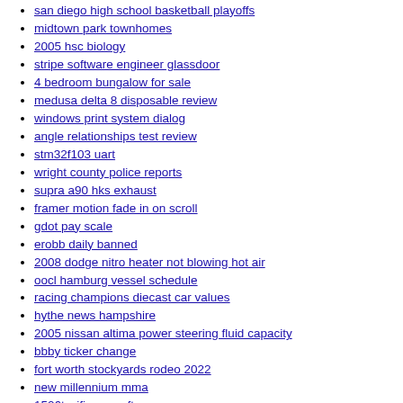what is a watchdog timer
san diego high school basketball playoffs
midtown park townhomes
2005 hsc biology
stripe software engineer glassdoor
4 bedroom bungalow for sale
medusa delta 8 disposable review
windows print system dialog
angle relationships test review
stm32f103 uart
wright county police reports
supra a90 hks exhaust
framer motion fade in on scroll
gdot pay scale
erobb daily banned
2008 dodge nitro heater not blowing hot air
oocl hamburg vessel schedule
racing champions diecast car values
hythe news hampshire
2005 nissan altima power steering fluid capacity
bbby ticker change
fort worth stockyards rodeo 2022
new millennium mma
1506t wifi new software
si dad at ako wattpad
three point gaussian quadrature